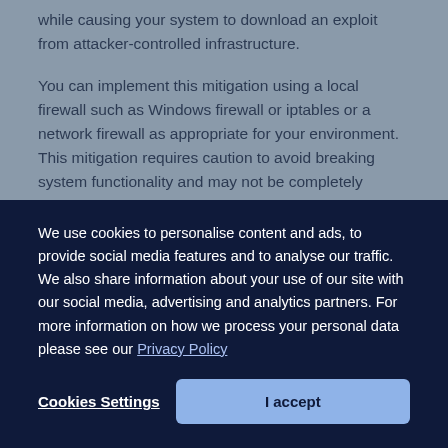while causing your system to download an exploit from attacker-controlled infrastructure.
You can implement this mitigation using a local firewall such as Windows firewall or iptables or a network firewall as appropriate for your environment. This mitigation requires caution to avoid breaking system functionality and may not be completely effective, because information can leak through DNS.
Web Application Firewalls (WAF)
We use cookies to personalise content and ads, to provide social media features and to analyse our traffic. We also share information about your use of our site with our social media, advertising and analytics partners. For more information on how we process your personal data please see our Privacy Policy